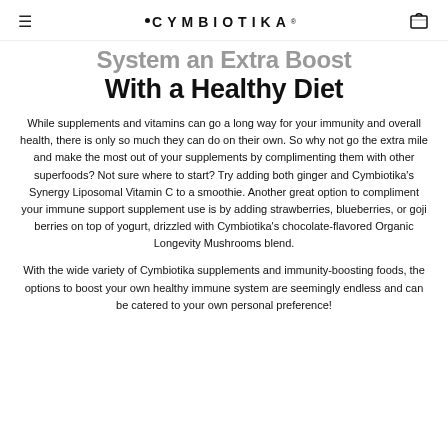CYMBIOTIKA
System an Extra Boost With a Healthy Diet
While supplements and vitamins can go a long way for your immunity and overall health, there is only so much they can do on their own. So why not go the extra mile and make the most out of your supplements by complimenting them with other superfoods? Not sure where to start? Try adding both ginger and Cymbiotika's Synergy Liposomal Vitamin C to a smoothie. Another great option to compliment your immune support supplement use is by adding strawberries, blueberries, or goji berries on top of yogurt, drizzled with Cymbiotika's chocolate-flavored Organic Longevity Mushrooms blend.
With the wide variety of Cymbiotika supplements and immunity-boosting foods, the options to boost your own healthy immune system are seemingly endless and can be catered to your own personal preference!